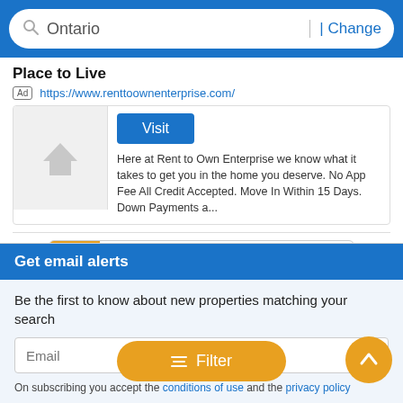[Figure (screenshot): Search bar with 'Ontario' text and 'Change' link on blue background]
Place to Live
Ad  https://www.renttoownenterprise.com/
[Figure (screenshot): Ad card with house placeholder image, Visit button, and description text about Rent to Own Enterprise]
Here at Rent to Own Enterprise we know what it takes to get you in the home you deserve. No App Fee All Credit Accepted. Move In Within 15 Days. Down Payments a...
[Figure (screenshot): Pagination bar with pages 1 (active/orange), 2, 3, 4, 5 and > arrow]
Get email alerts
Be the first to know about new properties matching your search
On subscribing you accept the conditions of use and the privacy policy